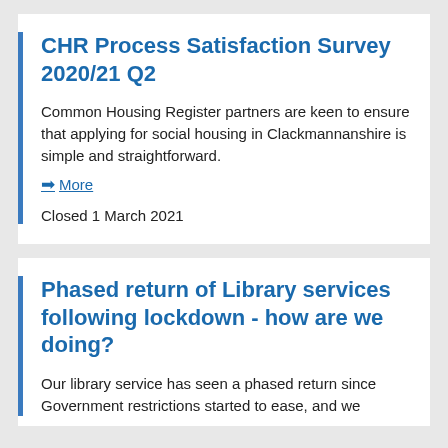CHR Process Satisfaction Survey 2020/21 Q2
Common Housing Register partners are keen to ensure that applying for social housing in Clackmannanshire is simple and straightforward.
➔ More
Closed 1 March 2021
Phased return of Library services following lockdown - how are we doing?
Our library service has seen a phased return since Government restrictions started to ease, and we